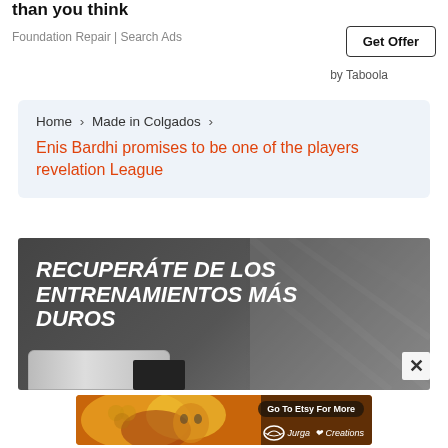than you think
Foundation Repair | Search Ads
Get Offer
by Taboola
Home > Made in Colgados > Enis Bardhi promises to be one of the players revelation League
[Figure (screenshot): Dark banner ad with bold white italic text: RECUPERÁTE DE LOS ENTRENAMIENTOS MÁS DUROS, with sports venue background and a product at bottom left. Close X button at right.]
[Figure (illustration): Colorful artistic illustration advertisement for Jurga Creations on Etsy, showing a stylized face with honeycomb pattern and floral elements. Button reads Go To Etsy For More.]